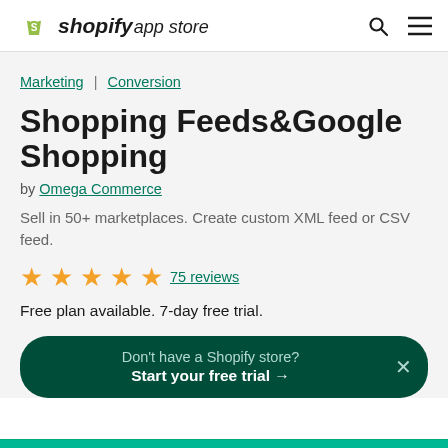shopify app store
Marketing | Conversion
Shopping Feeds&Google Shopping
by Omega Commerce
Sell in 50+ marketplaces. Create custom XML feed or CSV feed.
★★★★★ 75 reviews
Free plan available. 7-day free trial.
Don't have a Shopify store? Start your free trial →